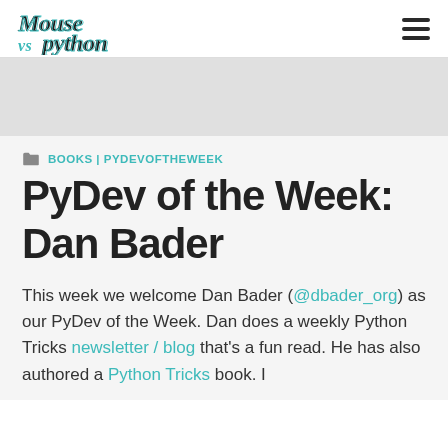[Figure (logo): Mouse vs Python website logo with stylized text and a hamburger menu icon]
[Figure (other): Gray banner/advertisement area]
BOOKS | PYDEVOFTHEWEEK
PyDev of the Week: Dan Bader
This week we welcome Dan Bader (@dbader_org) as our PyDev of the Week. Dan does a weekly Python Tricks newsletter / blog that's a fun read. He has also authored a Python Tricks book. I